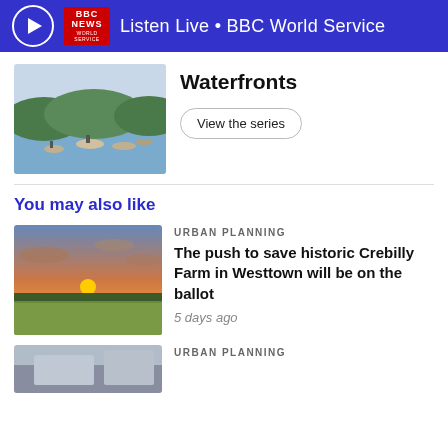Listen Live • BBC World Service
Waterfronts
[Figure (photo): People kayaking and canoeing on a river with green hills in the background]
View the series
You may also like
URBAN PLANNING
The push to save historic Crebilly Farm in Westtown will be on the ballot
[Figure (photo): Aerial sunset view of farmland with green fields]
5 days ago
URBAN PLANNING